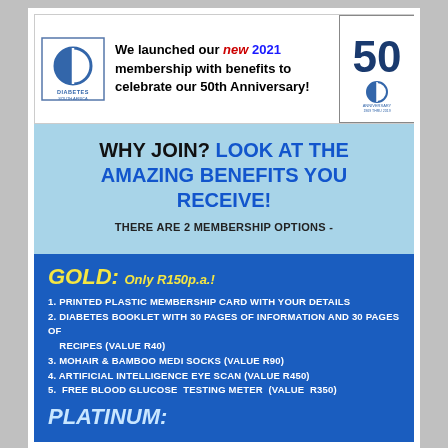[Figure (logo): Diabetes South Africa logo - circular design with vertical line through center]
We launched our new 2021 membership with benefits to celebrate our 50th Anniversary!
[Figure (logo): 50th Anniversary logo - number 50 with Diabetes South Africa emblem]
WHY JOIN? LOOK AT THE AMAZING BENEFITS YOU RECEIVE!
THERE ARE 2 MEMBERSHIP OPTIONS -
GOLD: Only R150p.a.!
1. PRINTED PLASTIC MEMBERSHIP CARD WITH YOUR DETAILS
2. DIABETES BOOKLET WITH 30 PAGES OF INFORMATION AND 30 PAGES OF RECIPES (VALUE R40)
3. MOHAIR & BAMBOO MEDI SOCKS (VALUE R90)
4. ARTIFICIAL INTELLIGENCE EYE SCAN (VALUE R450)
5. FREE BLOOD GLUCOSE TESTING METER (VALUE R350)
PLATINUM: